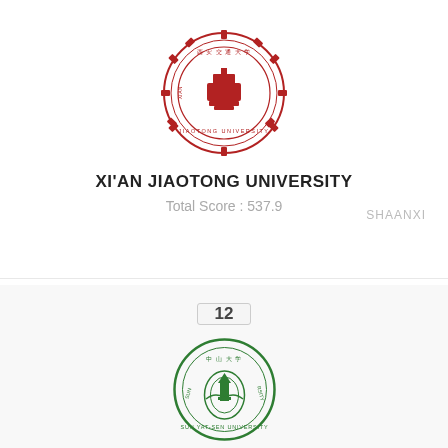[Figure (logo): Xi'an Jiaotong University red circular seal logo with gear border and Chinese characters]
XI'AN JIAOTONG UNIVERSITY
Total Score : 537.9
SHAANXI
12
[Figure (logo): Sun Yat-Sen University green circular seal logo with Chinese characters and tower illustration]
SUN YAT-SEN UNIVERSITY